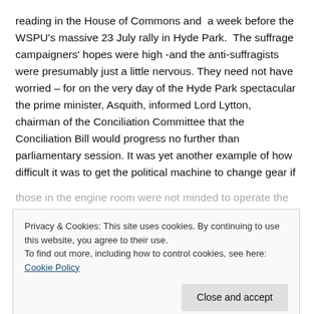reading in the House of Commons and  a week before the WSPU's massive 23 July rally in Hyde Park.  The suffrage campaigners' hopes were high -and the anti-suffragists were presumably just a little nervous. They need not have worried – for on the very day of the Hyde Park spectacular the prime minister, Asquith, informed Lord Lytton, chairman of the Conciliation Committee that the Conciliation Bill would progress no further than parliamentary session. It was yet another example of how difficult it was to get the political machine to change gear if those in the engine room were not minded to operate the
Privacy & Cookies: This site uses cookies. By continuing to use this website, you agree to their use.
To find out more, including how to control cookies, see here: Cookie Policy